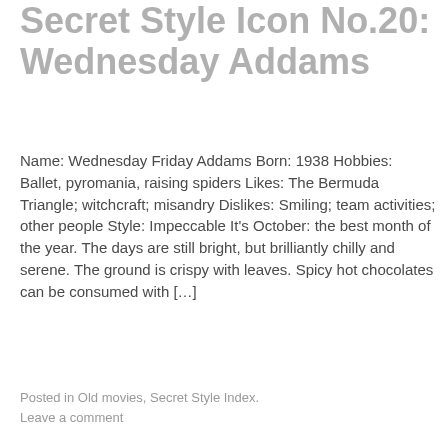Secret Style Icon No.20: Wednesday Addams
Name: Wednesday Friday Addams Born: 1938 Hobbies: Ballet, pyromania, raising spiders Likes: The Bermuda Triangle; witchcraft; misandry Dislikes: Smiling; team activities; other people Style: Impeccable It's October: the best month of the year. The days are still bright, but brilliantly chilly and serene. The ground is crispy with leaves. Spicy hot chocolates can be consumed with [...]
Posted in Old movies, Secret Style Index.
Leave a comment